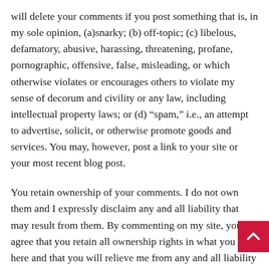will delete your comments if you post something that is, in my sole opinion, (a)snarky; (b) off-topic; (c) libelous, defamatory, abusive, harassing, threatening, profane, pornographic, offensive, false, misleading, or which otherwise violates or encourages others to violate my sense of decorum and civility or any law, including intellectual property laws; or (d) “spam,” i.e., an attempt to advertise, solicit, or otherwise promote goods and services. You may, however, post a link to your site or your most recent blog post.
You retain ownership of your comments. I do not own them and I expressly disclaim any and all liability that may result from them. By commenting on my site, you agree that you retain all ownership rights in what you post here and that you will relieve me from any and all liability that may result from those postings. You grant ArkansasDigitalNews.co… license to post your comments. This license is worldwide…